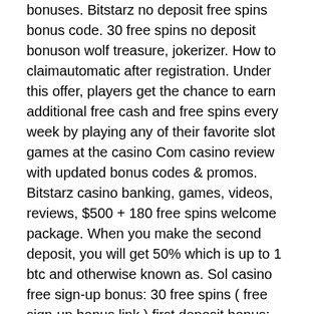bonuses. Bitstarz no deposit free spins bonus code. 30 free spins no deposit bonuson wolf treasure, jokerizer. How to claimautomatic after registration. Under this offer, players get the chance to earn additional free cash and free spins every week by playing any of their favorite slot games at the casino Com casino review with updated bonus codes &amp; promos. Bitstarz casino banking, games, videos, reviews, $500 + 180 free spins welcome package. When you make the second deposit, you will get 50% which is up to 1 btc and otherwise known as. Sol casino free sign-up bonus: 30 free spins ( free sign-up bonus link ) first deposit bonus: 200 up to 1000 ( registration link ) sign-up. Under this offer, players get the chance to earn additional free cash and free spins every week by playing any of their favorite slot games at the casino. За отыгрыш депозита размером 80 долларов, подарок составит